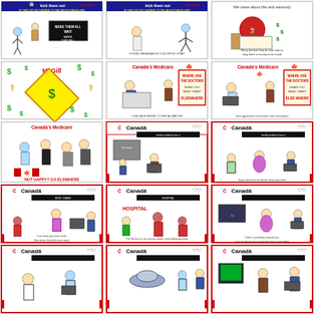[Figure (illustration): Grid of political cartoons about Canadian Medicare system. Row 1: Three cartoons about 'kick them out' (extra billing), and sick patient cartoon. Row 2: McGill dollar sign cartoon, Canada's Medicare 'Where are the doctors' cartoons (x2). Row 3: Canada's Medicare 'Not Happy? Go Elsewhere', Canada magazine cartoons (x2). Rows 4-5: Multiple Canada magazine cartoons showing doctor-patient interactions, hospital scenes, extra billing scenarios.]